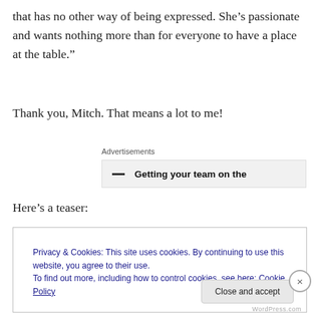that has no other way of being expressed. She’s passionate and wants nothing more than for everyone to have a place at the table.”
Thank you, Mitch. That means a lot to me!
[Figure (screenshot): Advertisements banner with bold text reading 'Getting your team on the']
Here’s a teaser:
[Figure (screenshot): Cookie consent popup overlay with broken image icon, text about Privacy & Cookies, link to Cookie Policy, and Close and accept button]
WordPress.com